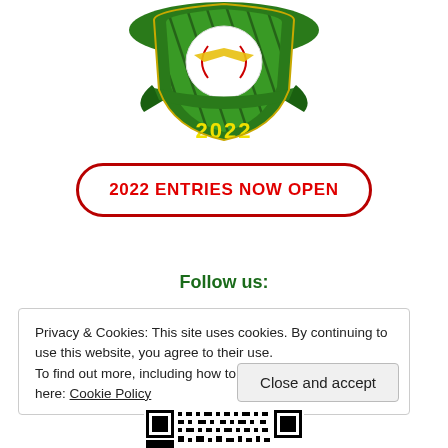[Figure (logo): A circular sports/competition shield logo with green and white colors, featuring a baseball/ball graphic and ribbons, with '2022' in yellow text at the bottom of the shield.]
2022 ENTRIES NOW OPEN
Follow us:
Privacy & Cookies: This site uses cookies. By continuing to use this website, you agree to their use.
To find out more, including how to control cookies, see here: Cookie Policy
Close and accept
[Figure (other): QR code partially visible at the bottom of the page]